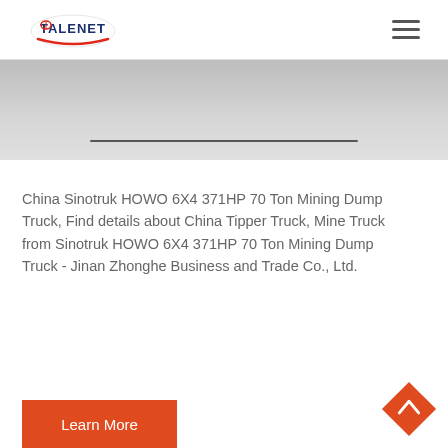TALENET [logo with navigation hamburger menu]
[Figure (photo): Partial view of a truck or vehicle, showing a flat metallic surface, cropped at the top of the content area.]
China Sinotruk HOWO 6X4 371HP 70 Ton Mining Dump Truck, Find details about China Tipper Truck, Mine Truck from Sinotruk HOWO 6X4 371HP 70 Ton Mining Dump Truck - Jinan Zhonghe Business and Trade Co., Ltd.